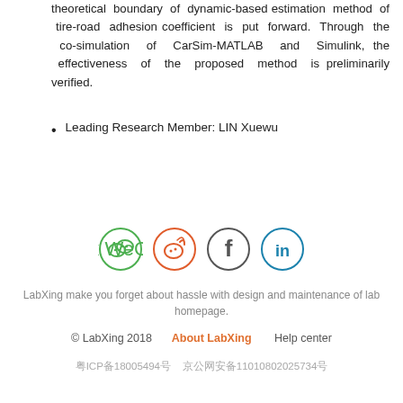theoretical boundary of dynamic-based estimation method of tire-road adhesion coefficient is put forward. Through the co-simulation of CarSim-MATLAB and Simulink, the effectiveness of the proposed method is preliminarily verified.
Leading Research Member: LIN Xuewu
[Figure (infographic): Four social media icon circles: WeChat (green), Weibo (orange-red), Facebook (grey), LinkedIn (blue)]
LabXing make you forget about hassle with design and maintenance of lab homepage.
© LabXing 2018   About LabXing   Help center
粤ICP备18005494号   京公网安备11010802025734号